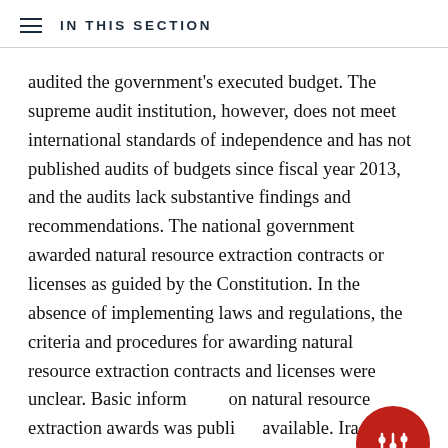IN THIS SECTION
audited the government's executed budget. The supreme audit institution, however, does not meet international standards of independence and has not published audits of budgets since fiscal year 2013, and the audits lack substantive findings and recommendations. The national government awarded natural resource extraction contracts or licenses as guided by the Constitution. In the absence of implementing laws and regulations, the criteria and procedures for awarding natural resource extraction contracts and licenses were unclear. Basic information on natural resource extraction awards was publicly available. Iraq's fiscal transparency would be improved